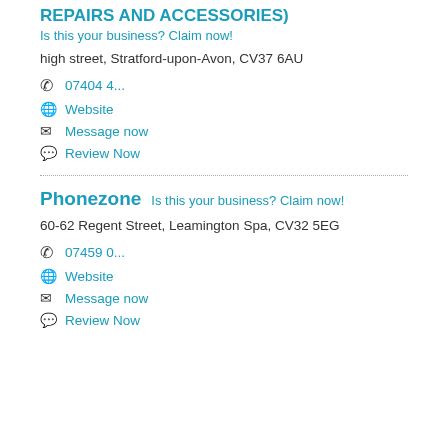REPAIRS AND ACCESSORIES)
Is this your business? Claim now!
high street, Stratford-upon-Avon, CV37 6AU
07404 4...
Website
Message now
Review Now
Phonezone
Is this your business? Claim now!
60-62 Regent Street, Leamington Spa, CV32 5EG
07459 0...
Website
Message now
Review Now